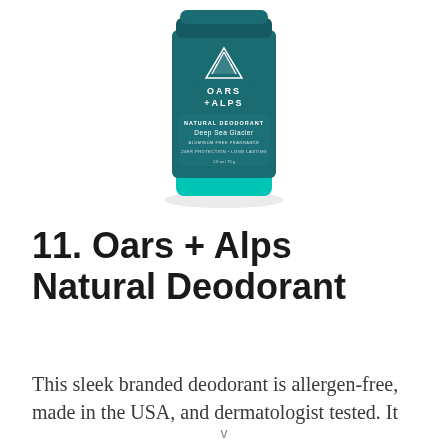[Figure (photo): Oars + Alps Natural Deodorant stick in teal/dark teal packaging with mountain logo and 'Deep Sea Glacier' scent label]
11. Oars + Alps Natural Deodorant
This sleek branded deodorant is allergen-free, made in the USA, and dermatologist tested. It
v